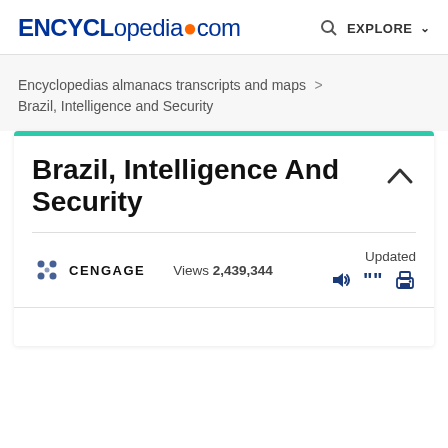ENCYCLopedia.com  EXPLORE
Encyclopedias almanacs transcripts and maps > Brazil, Intelligence and Security
Brazil, Intelligence And Security
Views 2,439,344  Updated